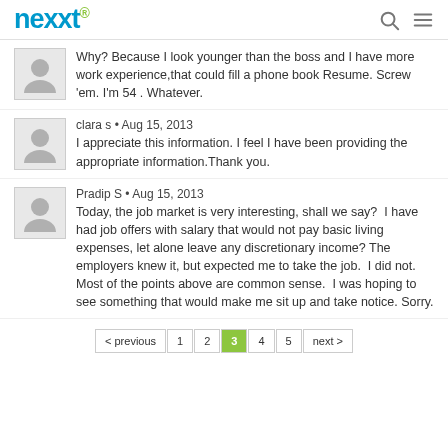nexxt
Why? Because I look younger than the boss and I have more work experience,that could fill a phone book Resume. Screw 'em. I'm 54 . Whatever.
clara s • Aug 15, 2013
I appreciate this information. I feel I have been providing the appropriate information.Thank you.
Pradip S • Aug 15, 2013
Today, the job market is very interesting, shall we say?  I have had job offers with salary that would not pay basic living expenses, let alone leave any discretionary income? The employers knew it, but expected me to take the job.  I did not.  Most of the points above are common sense.  I was hoping to see something that would make me sit up and take notice. Sorry.
< previous  1  2  3  4  5  next >